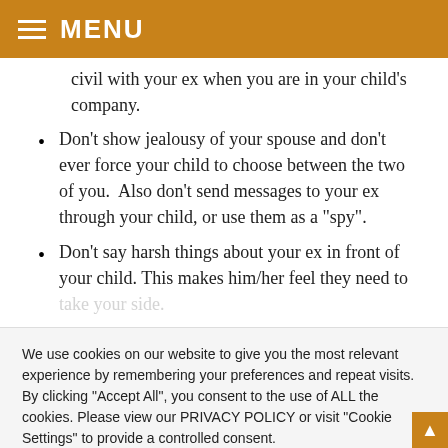MENU
civil with your ex when you are in your child's company.
Don't show jealousy of your spouse and don't ever force your child to choose between the two of you.  Also don't send messages to your ex through your child, or use them as a "spy".
Don't say harsh things about your ex in front of your child. This makes him/her feel they need to take your side.
We use cookies on our website to give you the most relevant experience by remembering your preferences and repeat visits. By clicking "Accept All", you consent to the use of ALL the cookies. Please view our PRIVACY POLICY or visit "Cookie Settings" to provide a controlled consent.